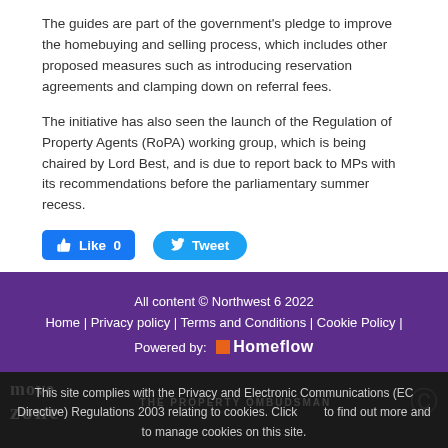The guides are part of the government's pledge to improve the homebuying and selling process, which includes other proposed measures such as introducing reservation agreements and clamping down on referral fees.
The initiative has also seen the launch of the Regulation of Property Agents (RoPA) working group, which is being chaired by Lord Best, and is due to report back to MPs with its recommendations before the parliamentary summer recess.
[Figure (other): Social sharing buttons: Facebook Like (0) and Twitter Tweet]
All content © Northwest 6 2022
Home | Privacy policy | Terms and Conditions | Cookie Policy |
Powered by: Homeflow
This site complies with the Privacy and Electronic Communications (EC Directive) Regulations 2003 relating to cookies. Click to find out more and to manage cookies on this site.